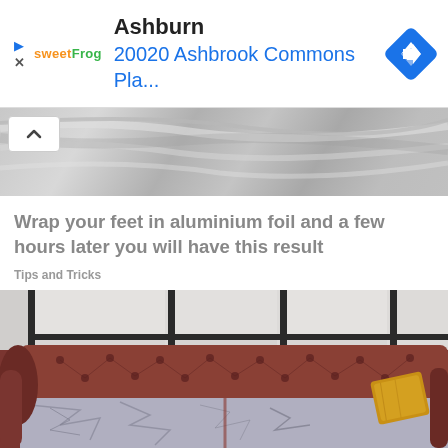[Figure (screenshot): Advertisement banner for sweetFrog frozen yogurt showing location 'Ashburn' with address '20020 Ashbrook Commons Pla...' and a navigation diamond icon]
[Figure (photo): Top portion of a photo showing aluminum foil texture in silver/gray tones, with a collapse/chevron-up button overlay]
Wrap your feet in aluminium foil and a few hours later you will have this result
Tips and Tricks
[Figure (photo): A worn leather Chesterfield-style sofa/couch in reddish-brown color with tufted back, severely damaged seat cushions showing cracked and peeling material, photographed in front of large industrial-style windows with black frames. A yellow/gold pillow or fabric item is visible on the right armrest.]